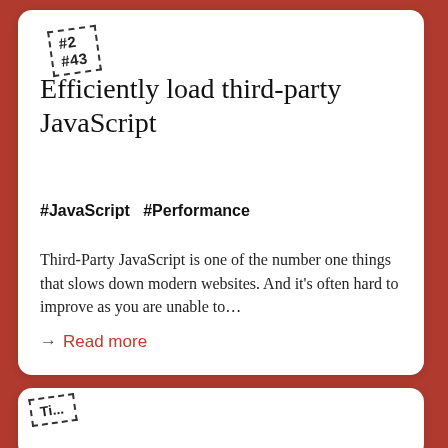[Figure (other): Dashed border stamp label showing '#2 #43' rotated slightly, top of card]
Efficiently load third-party JavaScript
#JavaScript  #Performance
Third-Party JavaScript is one of the number one things that slows down modern websites. And it's often hard to improve as you are unable to...
→ Read more
[Figure (other): Bottom card partially visible with dashed stamp label, cut off at bottom of page]